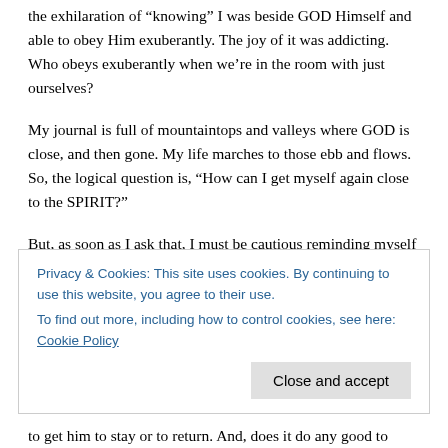the exhilaration of “knowing” I was beside GOD Himself and able to obey Him exuberantly. The joy of it was addicting. Who obeys exuberantly when we’re in the room with just ourselves?
My journal is full of mountaintops and valleys where GOD is close, and then gone. My life marches to those ebb and flows. So, the logical question is, “How can I get myself again close to the SPIRIT?”
But, as soon as I ask that, I must be cautious reminding myself that the SPIRIT is like the wind (Acts 2:2)—hard to capture. And, I’ve read enough about revival to know mankind gets in trouble seeking to keep the SPIRIT after He’s made Himself known in an extraordinary way.
Privacy & Cookies: This site uses cookies. By continuing to use this website, you agree to their use.
To find out more, including how to control cookies, see here: Cookie Policy
Close and accept
to get him to stay or to return. And, does it do any good to